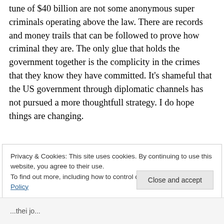tune of $40 billion are not some anonymous super criminals operating above the law. There are records and money trails that can be followed to prove how criminal they are. The only glue that holds the government together is the complicity in the crimes that they know they have committed. It’s shameful that the US government through diplomatic channels has not pursued a more thoughtfull strategy. I do hope things are changing.
Privacy & Cookies: This site uses cookies. By continuing to use this website, you agree to their use.
To find out more, including how to control cookies, see here: Cookie Policy
Close and accept
...their jo...